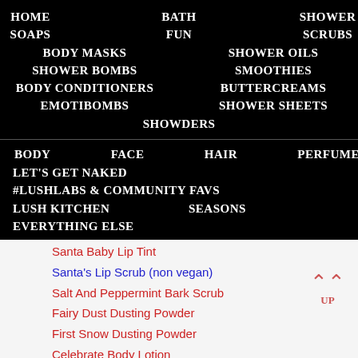HOME   BATH   SHOWER
SOAPS   FUN   SCRUBS
BODY MASKS   SHOWER OILS
SHOWER BOMBS   SMOOTHIES
BODY CONDITIONERS   BUTTERCREAMS
EMOTIBOMBS   SHOWER SHEETS
SHOWDERS
BODY   FACE   HAIR   PERFUME
LET'S GET NAKED
#LUSHLABS & COMMUNITY FAVS
LUSH KITCHEN   SEASONS
EVERYTHING ELSE
Santa Baby Lip Tint
Santa's Lip Scrub (non vegan)
Salt And Peppermint Bark Scrub
Fairy Dust Dusting Powder
First Snow Dusting Powder
Celebrate Body Lotion
Christingle Body Conditioner
Baked Alaska Soap